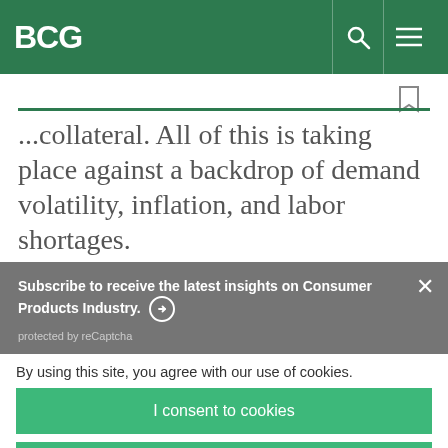BCG
...collateral. All of this is taking place against a backdrop of demand volatility, inflation, and labor shortages.
Subscribe to receive the latest insights on Consumer Products Industry. → protected by reCaptcha
By using this site, you agree with our use of cookies.
I consent to cookies
Want to know more?
Read our Cookie Policy